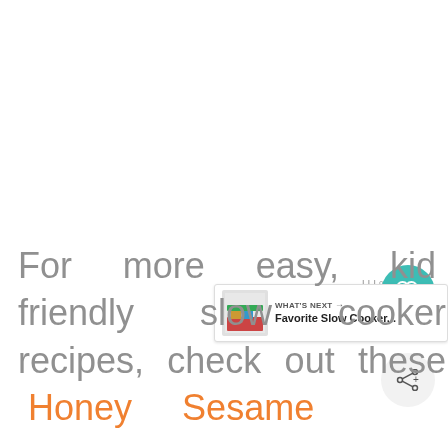For more easy, kid friendly slow cooker recipes, check out these Honey Sesame
[Figure (screenshot): UI overlay with teal heart button showing count of 1, share button, bars icon, and 'What's Next' card showing 'Favorite Slow Cooker...' with a small thumbnail image]